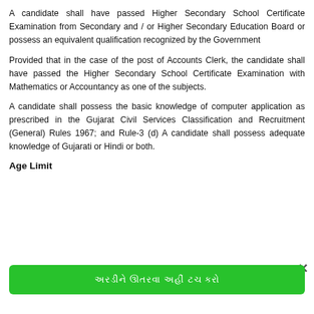A candidate shall have passed Higher Secondary School Certificate Examination from Secondary and / or Higher Secondary Education Board or possess an equivalent qualification recognized by the Government
Provided that in the case of the post of Accounts Clerk, the candidate shall have passed the Higher Secondary School Certificate Examination with Mathematics or Accountancy as one of the subjects.
A candidate shall possess the basic knowledge of computer application as prescribed in the Gujarat Civil Services Classification and Recruitment (General) Rules 1967; and Rule-3 (d) A candidate shall possess adequate knowledge of Gujarati or Hindi or both.
Age Limit
[Figure (other): Green button with Gujarati text and a close/dismiss button (×)]